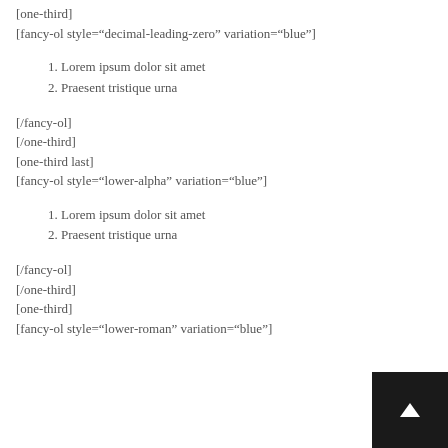[one-third]
[fancy-ol style="decimal-leading-zero" variation="blue"]
1. Lorem ipsum dolor sit amet
2. Praesent tristique urna
[/fancy-ol]
[/one-third]
[one-third last]
[fancy-ol style="lower-alpha" variation="blue"]
1. Lorem ipsum dolor sit amet
2. Praesent tristique urna
[/fancy-ol]
[/one-third]
[one-third]
[fancy-ol style="lower-roman" variation="blue"]